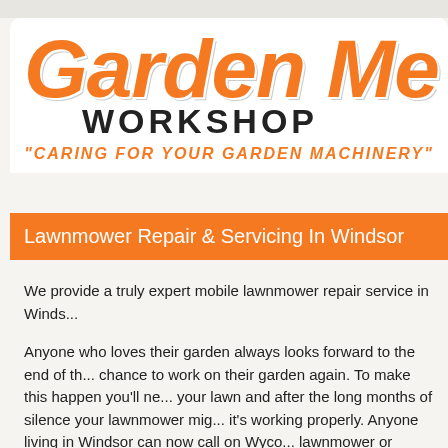[Figure (logo): Garden Mec Workshop logo with orange script text and tagline 'Caring for your garden machinery']
Lawnmower Repair & Servicing In Windsor
We provide a truly expert mobile lawnmower repair service in Windsor...
Anyone who loves their garden always looks forward to the end of the winter and the chance to work on their garden again. To make this happen you'll need to mow your lawn and after the long months of silence your lawnmower might need to check it's working properly. Anyone living in Windsor can now call on Wyco... lawnmower or gardening equipment issue on any scale.
Our team of lawnmower repair technicians have years of experience...